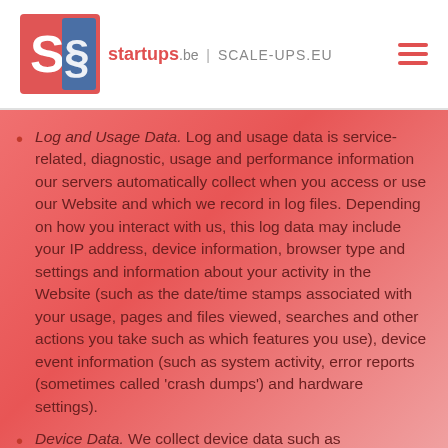startups.be | SCALE-UPS.EU
Log and Usage Data. Log and usage data is service-related, diagnostic, usage and performance information our servers automatically collect when you access or use our Website and which we record in log files. Depending on how you interact with us, this log data may include your IP address, device information, browser type and settings and information about your activity in the Website (such as the date/time stamps associated with your usage, pages and files viewed, searches and other actions you take such as which features you use), device event information (such as system activity, error reports (sometimes called 'crash dumps') and hardware settings).
Device Data. We collect device data such as